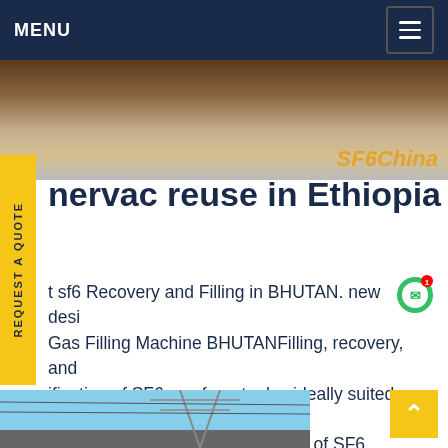MENU
[Figure (photo): Outdoor industrial site photo showing concrete/ground surface with brown soil, SFSChina watermark in orange-gold italic text at bottom right]
nervac reuse in Ethiopia
t sf6 Recovery and Filling in BHUTAN. new design Gas Filling Machine BHUTANFilling, recovery, and ification of SF6 gas from tanks, ideally suited up to kV (25 kg SF6 gas) Consolidation of SF6 cylinders; icial Features: The face of the cart has an easily erstandable flow- chart so that operational tings are intuitive; Mounted on a convenient handcart with 250 mm (10Get price
[Figure (photo): Outdoor photo showing electrical transmission tower/pylon against blue sky]